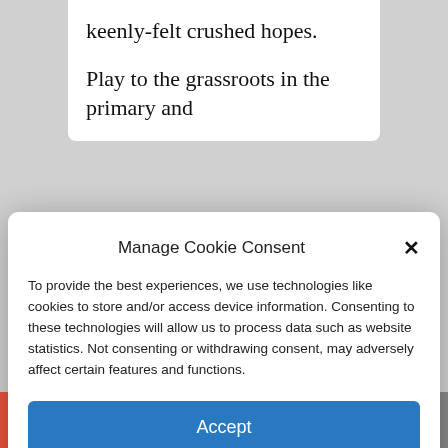keenly-felt crushed hopes.
Play to the grassroots in the primary and
Manage Cookie Consent
To provide the best experiences, we use technologies like cookies to store and/or access device information. Consenting to these technologies will allow us to process data such as website statistics. Not consenting or withdrawing consent, may adversely affect certain features and functions.
Accept
Cookie Policy  Privacy Policy
impossible for him to win on Nov. 3
[Figure (screenshot): Social share bar with buttons: Add (+), Facebook (f), Twitter bird, link/chain icon, and email envelope icon]